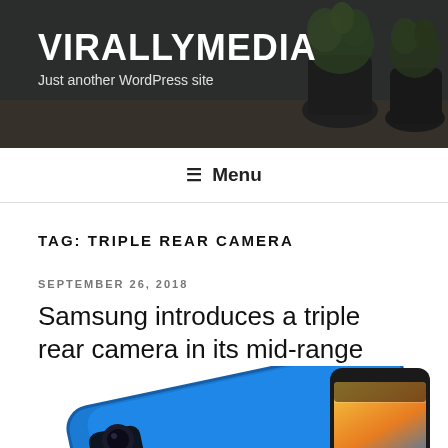VIRALLYMEDIA
Just another WordPress site
≡ Menu
TAG: TRIPLE REAR CAMERA
SEPTEMBER 26, 2018
Samsung introduces a triple rear camera in its mid-range with the Galaxy A7
[Figure (photo): Samsung Galaxy A7 smartphone shown from the back (blue) with triple camera array, alongside a second unit showing the front screen with colorful wallpaper]